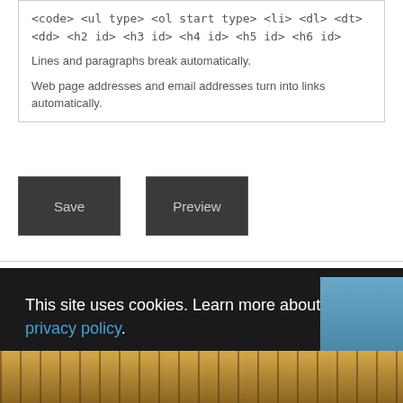<code> <ul type> <ol start type> <li> <dl> <dt> <dd> <h2 id> <h3 id> <h4 id> <h5 id> <h6 id>
Lines and paragraphs break automatically.
Web page addresses and email addresses turn into links automatically.
Save
Preview
This site uses cookies. Learn more about how we use cookies and our privacy policy.
Got it!
[Figure (photo): Bottom strip showing a building facade with warm golden/brown tones, with a blue sky panel visible on the right side.]